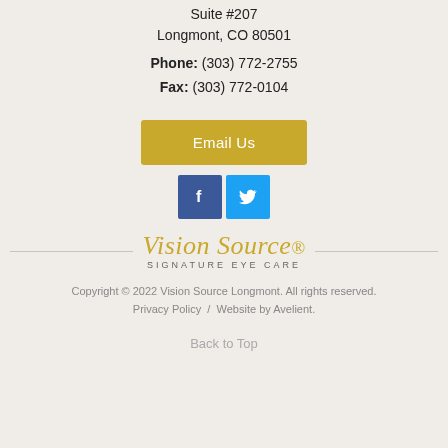Suite #207
Longmont, CO 80501
Phone: (303) 772-2755
Fax: (303) 772-0104
Email Us
[Figure (other): Social media icons: Facebook (blue square with white f) and Twitter (light blue square with white bird)]
[Figure (logo): Vision Source Signature Eye Care logo with golden italic script text and grey subtitle]
Copyright © 2022 Vision Source Longmont. All rights reserved.
Privacy Policy  /  Website by Avelient.
Back to Top